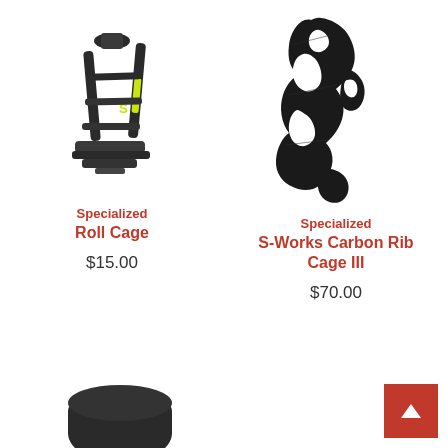[Figure (photo): Specialized Roll Cage bicycle water bottle cage, black with yellow/green accent, angled view]
Specialized
Roll Cage
$15.00
[Figure (photo): Specialized S-Works Carbon Rib Cage III bicycle water bottle cage, black carbon fiber, artistic open rib design]
Specialized
S-Works Carbon Rib Cage III
$70.00
[Figure (photo): Partial view of another bicycle accessory at the bottom of the page, black color]